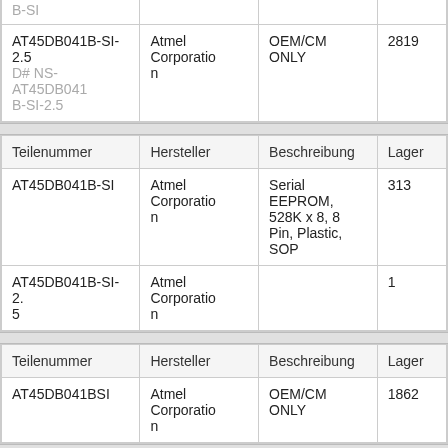| Teilenummer | Hersteller | Beschreibung | Lager |
| --- | --- | --- | --- |
| AT45DB041B-SI-2.5
D# NS-AT45DB041B-SI-2.5 | Atmel Corporation | OEM/CM ONLY | 2819 |
| Teilenummer | Hersteller | Beschreibung | Lager |
| --- | --- | --- | --- |
| AT45DB041B-SI | Atmel Corporation | Serial EEPROM, 528K x 8, 8 Pin, Plastic, SOP | 313 |
| AT45DB041B-SI-2.5 | Atmel Corporation |  | 1 |
| Teilenummer | Hersteller | Beschreibung | Lager |
| --- | --- | --- | --- |
| AT45DB041BSI | Atmel Corporation | OEM/CM ONLY | 1862 |
| Teilenummer | Hersteller | Beschreibung | Lager |
| --- | --- | --- | --- |
| AT45DB041B-SI | Atmel Corporation | shipping today... | 1244 |